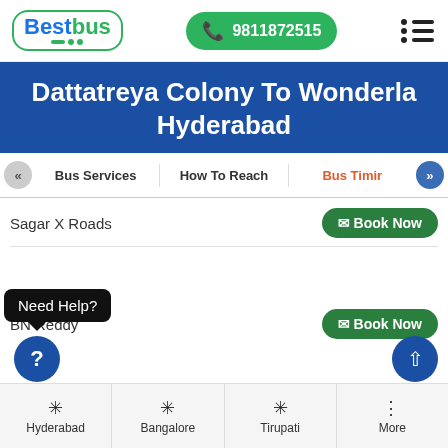[Figure (logo): BestBus logo with phone number 9811872515 and hamburger menu icon]
Dattatreya Colony To Wonderla Hyderabad
Bus Services | How To Reach | Bus Timir
Sagar X Roads
Book Now
BN Reddy
Need Help?
Book Now
Hyderabad
Bangalore
Tirupati
More